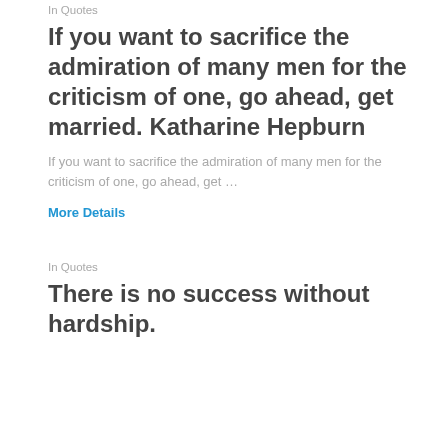In Quotes
If you want to sacrifice the admiration of many men for the criticism of one, go ahead, get married. Katharine Hepburn
If you want to sacrifice the admiration of many men for the criticism of one, go ahead, get …
More Details
In Quotes
There is no success without hardship.